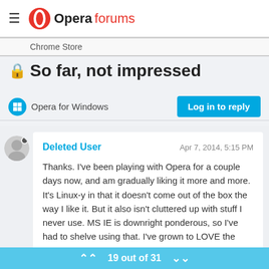Opera forums
Chrome Store
🔒 So far, not impressed
Opera for Windows
Log in to reply
Deleted User — Apr 7, 2014, 5:15 PM
Thanks. I've been playing with Opera for a couple days now, and am gradually liking it more and more. It's Linux-y in that it doesn't come out of the box the way I like it. But it also isn't cluttered up with stuff I never use. MS IE is downright ponderous, so I've had to shelve using that. I've grown to LOVE the "Speed Dial" feature. I use it as a mini-bookmark section for the bookmarks I
19 out of 31